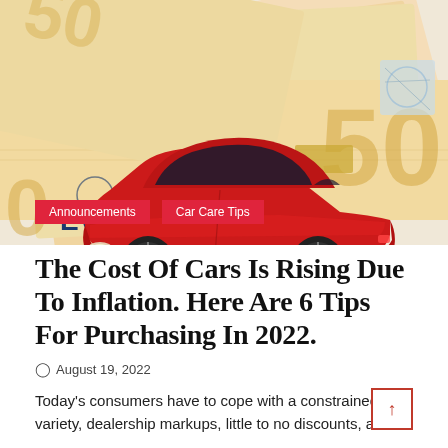[Figure (photo): A red toy sports car placed on top of fanned-out Euro banknotes (50 euro bills visible), set against a light background.]
Announcements   Car Care Tips
The Cost Of Cars Is Rising Due To Inflation. Here Are 6 Tips For Purchasing In 2022.
August 19, 2022
Today's consumers have to cope with a constrained variety, dealership markups, little to no discounts, and a